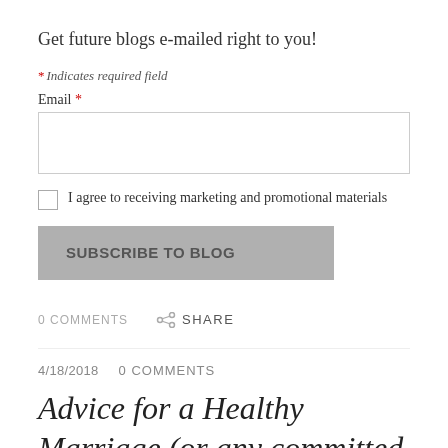Get future blogs e-mailed right to you!
* Indicates required field
Email *
I agree to receiving marketing and promotional materials
SUBSCRIBE TO BLOG
0 COMMENTS    SHARE
4/18/2018    0 COMMENTS
Advice for a Healthy Marriage (or any committed partnership)...